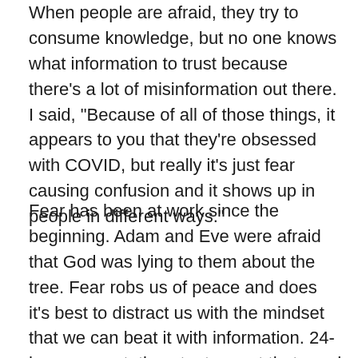When people are afraid, they try to consume knowledge, but no one knows what information to trust because there's a lot of misinformation out there. I said, "Because of all of those things, it appears to you that they're obsessed with COVID, but really it's just fear causing confusion and it shows up in people in different ways."
Fear has been at work since the beginning. Adam and Eve were afraid that God was lying to them about the tree. Fear robs us of peace and does it's best to distract us with the mindset that we can beat it with information. 24-hour news stations try to meet that need for people to have the most up to date information and often report things before they're vetted. It's easy to get addicted to the news and not realize that you're feeding fear as it's compelling you to keep watching. Internal peace is hard to find in an uncertain world, but it is possible. You won't find it in the